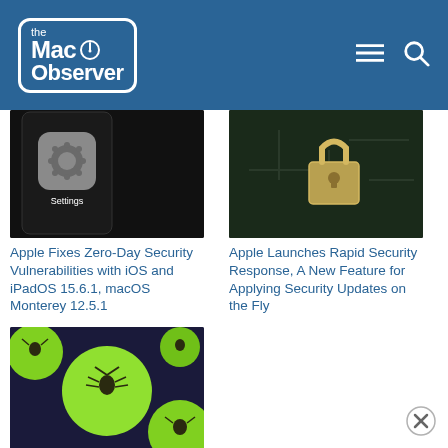the Mac Observer
[Figure (screenshot): iOS Settings app icon on a dark phone screen]
Apple Fixes Zero-Day Security Vulnerabilities with iOS and iPadOS 15.6.1, macOS Monterey 12.5.1
[Figure (photo): Close-up of a padlock on a circuit board]
Apple Launches Rapid Security Response, A New Feature for Applying Security Updates on the Fly
[Figure (illustration): Green circles with cartoon bugs on dark background]
[U: Play It Again, Sam] Update Zoom On Your Mac Now: Vulnerability Could Give Attacker Full Access to Your Computer